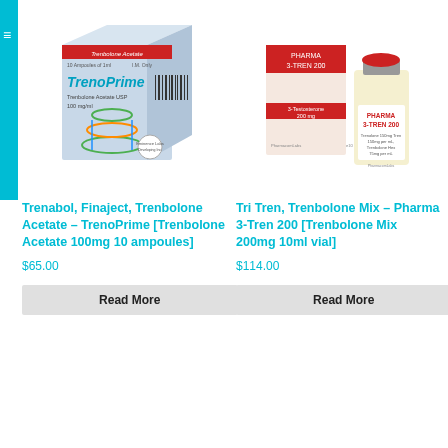[Figure (photo): TrenoPrime product box showing Trenbolone Acetate USP 100mg/ml with DNA helix graphic]
[Figure (photo): Pharma 3-Tren 200 product box and vial showing Trenbolone Mix 200mg]
Trenabol, Finaject, Trenbolone Acetate – TrenoPrime [Trenbolone Acetate 100mg 10 ampoules]
$65.00
Read More
Tri Tren, Trenbolone Mix – Pharma 3-Tren 200 [Trenbolone Mix 200mg 10ml vial]
$114.00
Read More